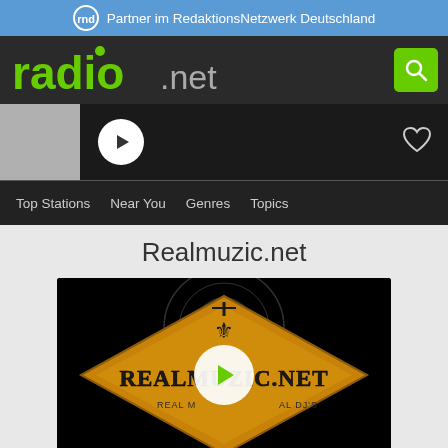Partner im RedaktionsNetzwerk Deutschland
[Figure (logo): radio.net logo in green with search button]
[Figure (other): Player bar with station thumbnail, play button, and heart icon]
Top Stations  Near You  Genres  Topics
Realmuzic.net
[Figure (photo): Realmuzic.net radio station logo image on black background with play button overlay. Diamond shaped golden badge with REALMUZIC.NET text and REAL MUZIC AL DJ'S subtext, with a fleur-de-lis antenna icon at top.]